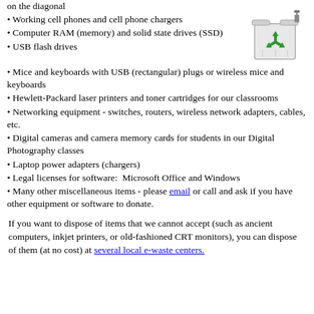[Figure (illustration): Recycling bin illustration with green recycle arrows symbol on the front]
on the diagonal
Working cell phones and cell phone chargers
Computer RAM (memory) and solid state drives (SSD)
USB flash drives
Mice and keyboards with USB (rectangular) plugs or wireless mice and keyboards
Hewlett-Packard laser printers and toner cartridges for our classrooms
Networking equipment - switches, routers, wireless network adapters, cables, etc.
Digital cameras and camera memory cards for students in our Digital Photography classes
Laptop power adapters (chargers)
Legal licenses for software:  Microsoft Office and Windows
Many other miscellaneous items - please email or call and ask if you have other equipment or software to donate.
If you want to dispose of items that we cannot accept (such as ancient computers, inkjet printers, or old-fashioned CRT monitors), you can dispose of them (at no cost) at several local e-waste centers.